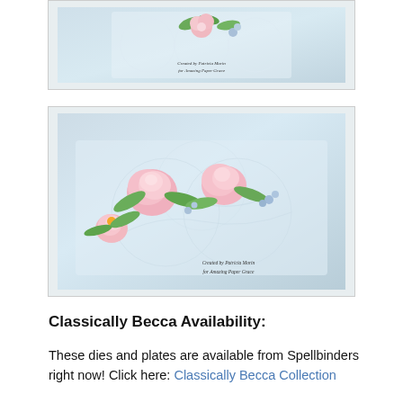[Figure (photo): Close-up photo of a handcrafted card with intricate white lace-patterned embossing, decorated with pink flowers and green leaves. Watermark text reads 'Created by Patricia Morin for Amazing Paper Grace'.]
[Figure (photo): Close-up photo of a handcrafted card with white lace embossing pattern, decorated with two large pink peony-like flowers, a smaller pink flower, green leaves, and small blue floral accents. Watermark text reads 'Created by Patricia Morin for Amazing Paper Grace'.]
Classically Becca Availability:
These dies and plates are available from Spellbinders right now! Click here: Classically Becca Collection